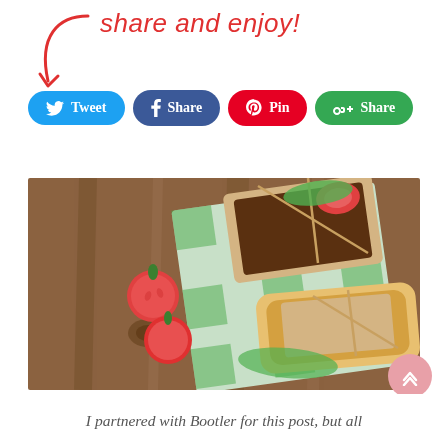share and enjoy!
[Figure (screenshot): Social sharing buttons row: Tweet (Twitter, blue), Share (Facebook, dark blue), Pin (Pinterest, red), Share (Google+, green)]
[Figure (photo): Overhead view of two sandwiches wrapped in kraft paper and tied with twine, placed on a green-checkered cloth napkin on a wooden table, with cherry tomatoes beside them]
I partnered with Bootler for this post, but all